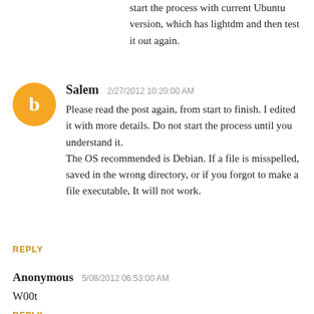start the process with current Ubuntu version, which has lightdm and then test it out again.
Salem  2/27/2012 10:20:00 AM
Please read the post again, from start to finish. I edited it with more details. Do not start the process until you understand it.
The OS recommended is Debian. If a file is misspelled, saved in the wrong directory, or if you forgot to make a file executable, It will not work.
REPLY
Anonymous  5/08/2012 06:53:00 AM
W00t
REPLY